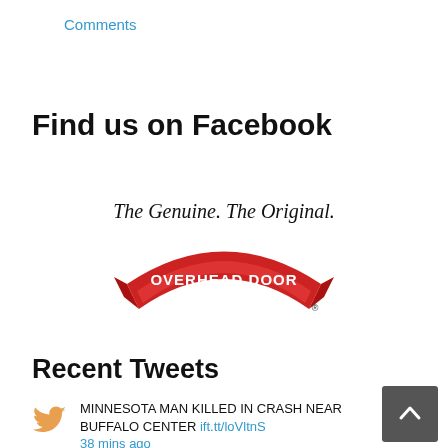Comments
Find us on Facebook
[Figure (logo): Overhead Door logo with tagline 'The Genuine. The Original.' and red ribbon banner with white text 'OVERHEAD DOOR' and registered trademark symbol]
Recent Tweets
MINNESOTA MAN KILLED IN CRASH NEAR BUFFALO CENTER ift.tt/loVltnS 38 mins ago